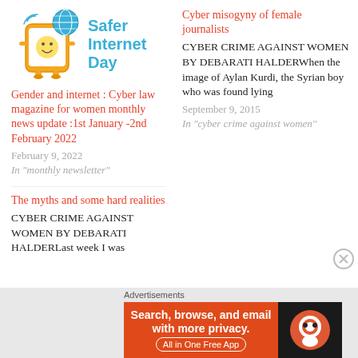[Figure (logo): Safer Internet Day logo — cartoon tablet character with globe and 'Safer Internet Day' text in blue]
Gender and internet : Cyber law magazine for women monthly news update :1st January -2nd February 2022
February 9, 2022
In "monthly newsletter"
The myths and some hard realities
CYBER CRIME AGAINST WOMEN BY DEBARATI HALDERLast week I was
Cyber misogyny of female journalists
CYBER CRIME AGAINST WOMEN BY DEBARATI HALDERWhen the image of Aylan Kurdi, the Syrian boy who was found lying
September 9, 2015
In "cyber crime against women"
Advertisements
[Figure (screenshot): DuckDuckGo advertisement banner: orange section with 'Search, browse, and email with more privacy. All in One Free App' and dark section with DuckDuckGo logo]